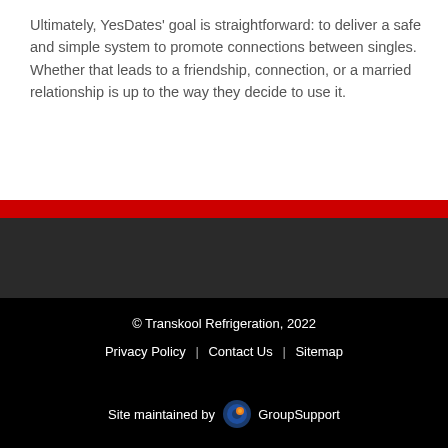Ultimately, YesDates' goal is straightforward: to deliver a safe and simple system to promote connections between singles. Whether that leads to a friendship, connection, or a married relationship is up to the way they decide to use it.
© Transkool Refrigeration, 2022
Privacy Policy | Contact Us | Sitemap
Site maintained by GroupSupport